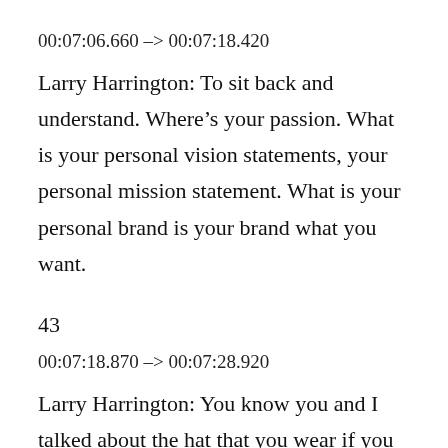00:07:06.660 --> 00:07:18.420
Larry Harrington: To sit back and understand. Where’s your passion. What is your personal vision statements, your personal mission statement. What is your personal brand is your brand what you want.
43
00:07:18.870 --> 00:07:28.920
Larry Harrington: You know you and I talked about the hat that you wear if you stand out at